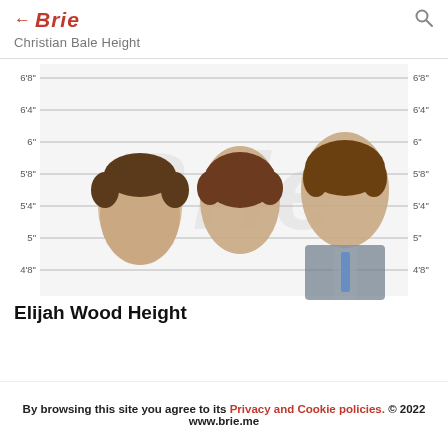← Brie | Christian Bale Height
[Figure (infographic): Height comparison chart showing three people (Daniel Radcliffe, Elijah Wood, Tom Cruise) against a ruler background with height markers from 4'8" to 6'8". The Brie watermark logo is visible in the background. Labels on both left and right sides show heights: 6'8", 6'4", 6", 5'8", 5'4", 5", 4'8".]
Elijah Wood Height
By browsing this site you agree to its Privacy and Cookie policies. © 2022 www.brie.me